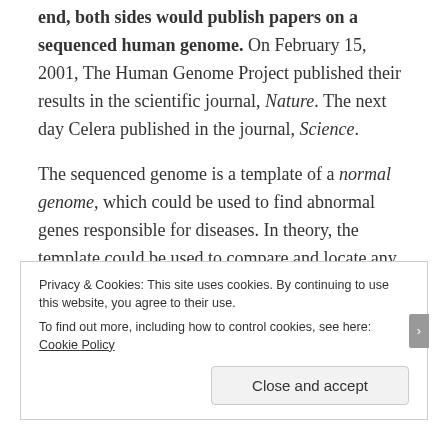end, both sides would publish papers on a sequenced human genome. On February 15, 2001, The Human Genome Project published their results in the scientific journal, Nature. The next day Celera published in the journal, Science.
The sequenced genome is a template of a normal genome, which could be used to find abnormal genes responsible for diseases. In theory, the template could be used to compare and locate any mutant genes. This could lead to treating and curing diseases (at the genetic